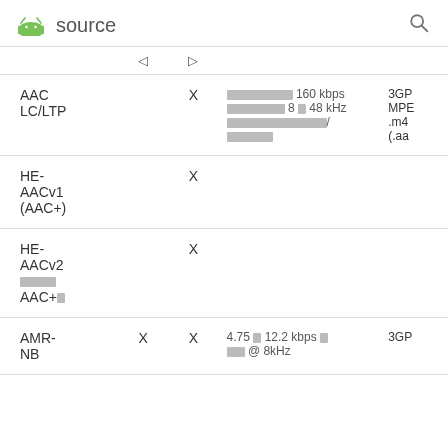source
|  | ◁ | ▷ |  |  |
| --- | --- | --- | --- | --- |
| AAC LC/LTP |  | X | ████████ 160 kbps ███████ 8 █ 48 kHz ████████████/██████ | 3GP MPE .m4 (.aa |
| HE-AACv1 (AAC+) |  | X |  |  |
| HE-AACv2 ████ AAC+█ |  | X |  |  |
| AMR-NB | X | X | 4.75 █ 12.2 kbps █ ██ @ 8kHz | 3GP |